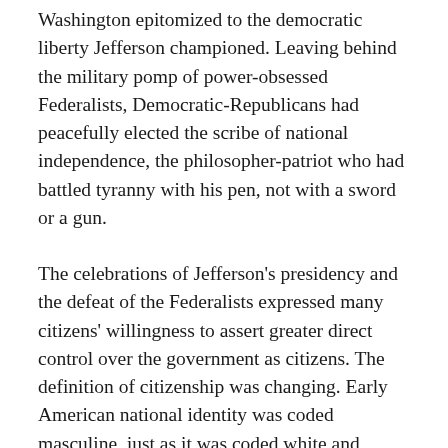Washington epitomized to the democratic liberty Jefferson championed. Leaving behind the military pomp of power-obsessed Federalists, Democratic-Republicans had peacefully elected the scribe of national independence, the philosopher-patriot who had battled tyranny with his pen, not with a sword or a gun.
The celebrations of Jefferson's presidency and the defeat of the Federalists expressed many citizens' willingness to assert greater direct control over the government as citizens. The definition of citizenship was changing. Early American national identity was coded masculine, just as it was coded white and wealthy; yet, since the Revolution, women had repeatedly called for a place in the conversation.